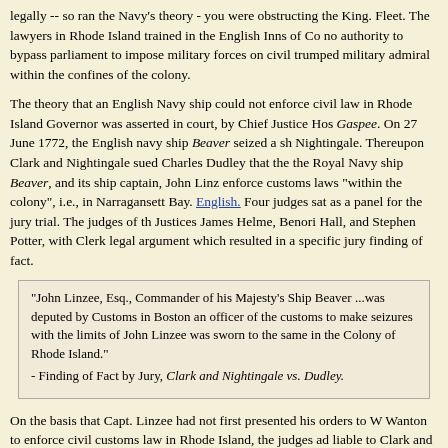legally -- so ran the Navy's theory - you were obstructing the King. Fleet. The lawyers in Rhode Island trained in the English Inns of Co no authority to bypass parliament to impose military forces on civil trumped military admiral within the confines of the colony.
The theory that an English Navy ship could not enforce civil law in Rhode Island Governor was asserted in court, by Chief Justice Hos Gaspee. On 27 June 1772, the English navy ship Beaver seized a sh Nightingale. Thereupon Clark and Nightingale sued Charles Dudley that the the Royal Navy ship Beaver, and its ship captain, John Linz enforce customs laws "within the colony", i.e., in Narragansett Bay. English. Four judges sat as a panel for the jury trial. The judges of th Justices James Helme, Benori Hall, and Stephen Potter, with Clerk legal argument which resulted in a specific jury finding of fact.
"John Linzee, Esq., Commander of his Majesty's Ship Beaver ...was deputed by Customs in Boston an officer of the customs to make seizures with the limits of John Linzee was sworn to the same in the Colony of Rhode Island."
- Finding of Fact by Jury, Clark and Nightingale vs. Dudley.
On the basis that Capt. Linzee had not first presented his orders to W Wanton to enforce civil customs law in Rhode Island, the judges ad liable to Clark and Nightingale for 500 English pounds damages fo Island court issued a judgment directing the return of the ship to C